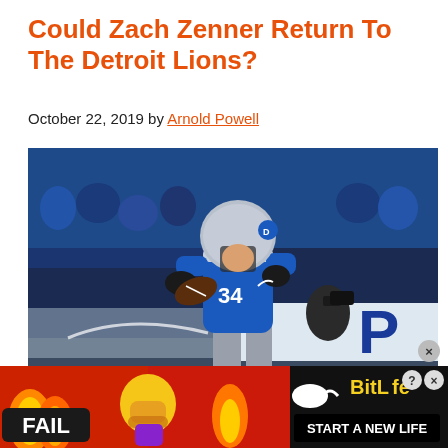Could Zach Zenner Return To The Detroit Lions?
October 22, 2019 by Arnold Powell
[Figure (photo): Detroit Lions running back Zach Zenner (#34) in blue uniform and silver helmet carrying a football during a game, with crowd and stadium signage visible in background.]
[Figure (screenshot): Advertisement banner for BitLife mobile game showing 'FAIL' text, flame emoji, crying face emoji, logo with white oval, 'BitLife' text in yellow, and 'START A NEW LIFE' tagline on black background with red border. Has close (x) and help (?) buttons.]